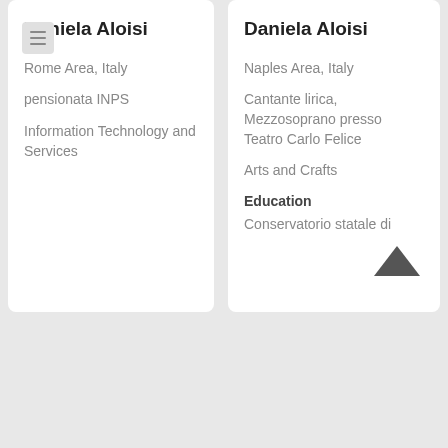[Figure (screenshot): Blue 'Show more' button on white card (left)]
[Figure (screenshot): Blue 'Show more' button on white card (right)]
Daniela Aloisi
Rome Area, Italy
pensionata INPS
Information Technology and Services
Daniela Aloisi
Naples Area, Italy
Cantante lirica, Mezzosoprano presso Teatro Carlo Felice
Arts and Crafts
Education
Conservatorio statale di